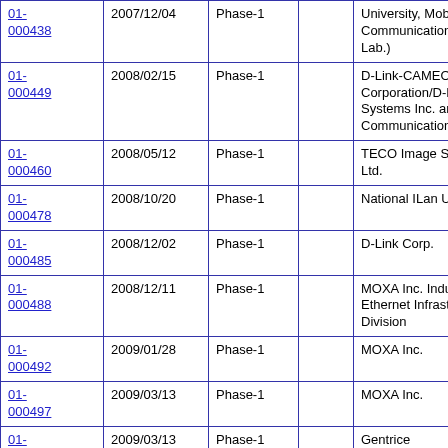| ID | Date | Phase |  | Organization |
| --- | --- | --- | --- | --- |
| 01-000438 | 2007/12/04 | Phase-1 |  | University, Mobile Communication Network Lab.) |
| 01-000449 | 2008/02/15 | Phase-1 |  | D-Link-CAMEO(D-Link Corporation/D-Link Systems Inc. and CAMEO Communications, Inc.) |
| 01-000460 | 2008/05/12 | Phase-1 |  | TECO Image Systems. Ltd. |
| 01-000478 | 2008/10/20 | Phase-1 |  | National ILan University |
| 01-000485 | 2008/12/02 | Phase-1 |  | D-Link Corp. |
| 01-000488 | 2008/12/11 | Phase-1 |  | MOXA Inc. Industrial Ethernet Infrastructure Division |
| 01-000492 | 2009/01/28 | Phase-1 |  | MOXA Inc. |
| 01-000497 | 2009/03/13 | Phase-1 |  | MOXA Inc. |
| 01-000498 | 2009/03/13 | Phase-1 |  | Gentrice |
| 01-000501 | 2009/05/12 | Phase-1 |  | MOXA Inc. |